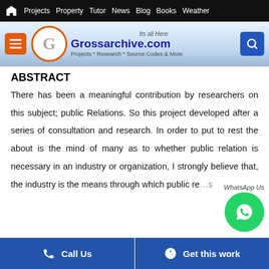Projects  Property  Tutor  News  Blog  Books  Weather
[Figure (logo): Grossarchive.com logo with orange G circle, menu button, search button, tagline 'Projects * Research * Source Codes & More', 'Its all Here']
ABSTRACT
There has been a meaningful contribution by researchers on this subject; public Relations. So this project developed after a series of consultation and research. In order to put to rest the about is the mind of many as to whether public relation is necessary in an industry or organization, I strongly believe that, the industry is the means through which public re...s
[Figure (illustration): WhatsApp contact button (green circle with phone icon), labeled 'WhatsApp Us']
Call Us    Get this work